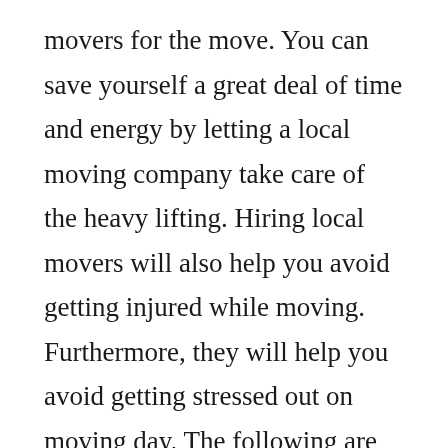movers for the move. You can save yourself a great deal of time and energy by letting a local moving company take care of the heavy lifting. Hiring local movers will also help you avoid getting injured while moving. Furthermore, they will help you avoid getting stressed out on moving day. The following are just a few of the many benefits of hiring a local moving company.

They know what to pack and unpack for your